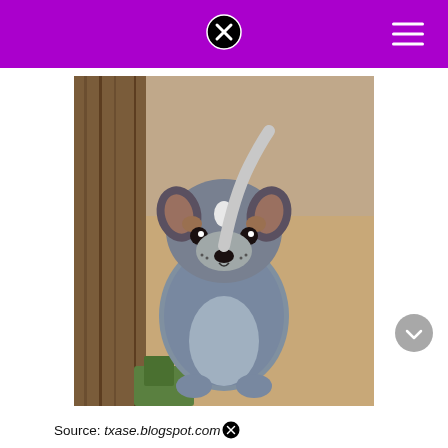[Figure (photo): A blue heeler (Australian Cattle Dog) puppy looking up at the camera, with grey-blue and brown fur, white spot on forehead, sitting near a wooden fence with green grass and sandy ground visible in the background.]
Source: txase.blogspot.com